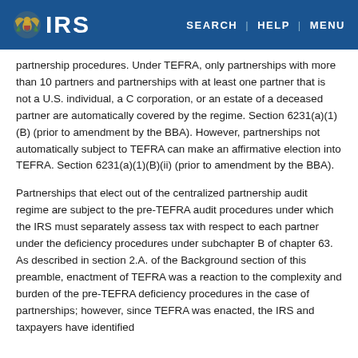IRS | SEARCH | HELP | MENU
partnership procedures. Under TEFRA, only partnerships with more than 10 partners and partnerships with at least one partner that is not a U.S. individual, a C corporation, or an estate of a deceased partner are automatically covered by the regime. Section 6231(a)(1)(B) (prior to amendment by the BBA). However, partnerships not automatically subject to TEFRA can make an affirmative election into TEFRA. Section 6231(a)(1)(B)(ii) (prior to amendment by the BBA).
Partnerships that elect out of the centralized partnership audit regime are subject to the pre-TEFRA audit procedures under which the IRS must separately assess tax with respect to each partner under the deficiency procedures under subchapter B of chapter 63. As described in section 2.A. of the Background section of this preamble, enactment of TEFRA was a reaction to the complexity and burden of the pre-TEFRA deficiency procedures in the case of partnerships; however, since TEFRA was enacted, the IRS and taxpayers have identified